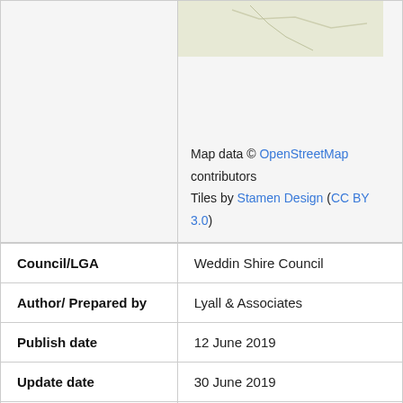[Figure (map): Partial map image showing terrain/region in pale yellow-green tones with a road line, attributed to OpenStreetMap and Stamen Design]
Map data © OpenStreetMap contributors
Tiles by Stamen Design (CC BY 3.0)
| Council/LGA | Weddin Shire Council |
| Author/ Prepared by | Lyall & Associates |
| Publish date | 12 June 2019 |
| Update date | 30 June 2019 |
| River Basin | 412 - Lachlan |
| Approval State | Approved |